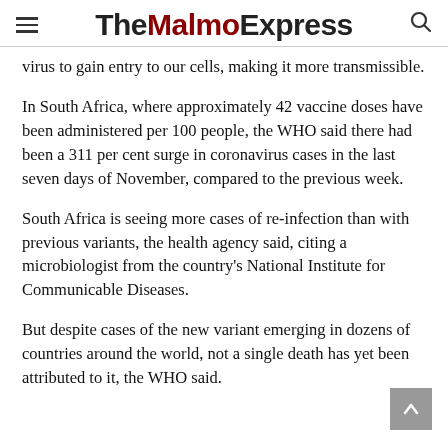The Malmo Express
virus to gain entry to our cells, making it more transmissible.
In South Africa, where approximately 42 vaccine doses have been administered per 100 people, the WHO said there had been a 311 per cent surge in coronavirus cases in the last seven days of November, compared to the previous week.
South Africa is seeing more cases of re-infection than with previous variants, the health agency said, citing a microbiologist from the country's National Institute for Communicable Diseases.
But despite cases of the new variant emerging in dozens of countries around the world, not a single death has yet been attributed to it, the WHO said.